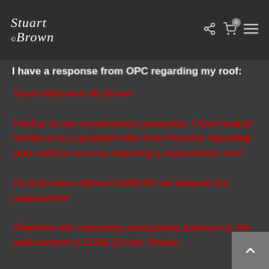Stuart ©Brown — navigation icons (share, cart 0, menu)
I have a response from OPC regarding my roof:
Good Afternoon Mr Brown

Further to our conversation yesterday, I have looked further in to a goodwill offer from Porsche regarding your vehicle xxxxxxx requiring a replacement roof.

Porsche have offered £1265.09+vat towards the replacement

Therefore the remaining outstanding balance for the replacement is £1546.21+vat. Please